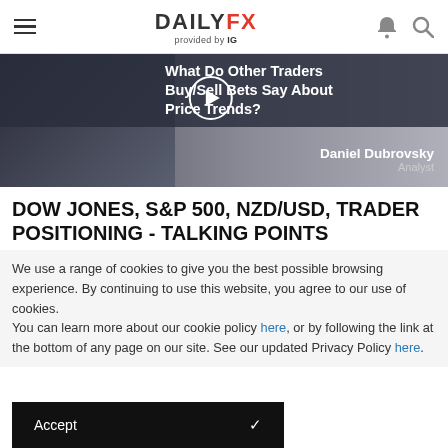DAILYFX provided by IG
[Figure (photo): Video thumbnail showing a man in a suit with text overlay 'What Do Other Traders Buy/Sell Bets Say About Price Trends?' and a play button. Author: Daniel Dubrovsky, Analyst.]
DOW JONES, S&P 500, NZD/USD, TRADER POSITIONING - TALKING POINTS
We use a range of cookies to give you the best possible browsing experience. By continuing to use this website, you agree to our use of cookies.
You can learn more about our cookie policy here, or by following the link at the bottom of any page on our site. See our updated Privacy Policy here.
Accept